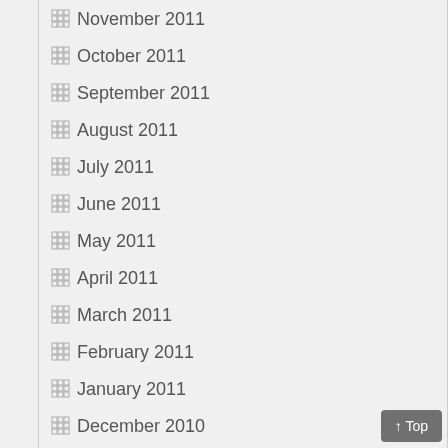November 2011
October 2011
September 2011
August 2011
July 2011
June 2011
May 2011
April 2011
March 2011
February 2011
January 2011
December 2010
November 2010
October 2010
September 2010
August 2010
July 2010
June 2010
May 2010
April 2010
March 2010
February 2010
January 2010